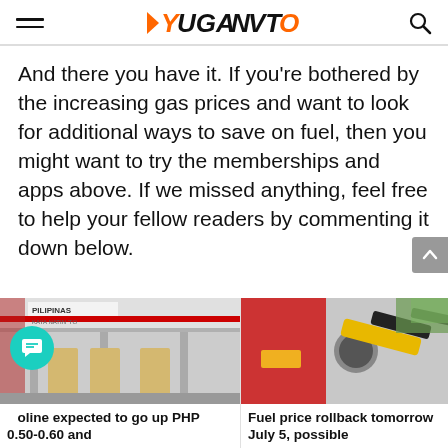YUGANTO
And there you have it. If you’re bothered by the increasing gas prices and want to look for additional ways to save on fuel, then you might want to try the memberships and apps above. If we missed anything, feel free to help your fellow readers by commenting it down below.
[Figure (photo): Photo of a Pilipinas gas station with fuel pumps and red canopy]
Gasoline expected to go up PHP 0.50-0.60 and
[Figure (photo): Photo of a yellow fuel nozzle being inserted into a red car]
Fuel price rollback tomorrow July 5, possible